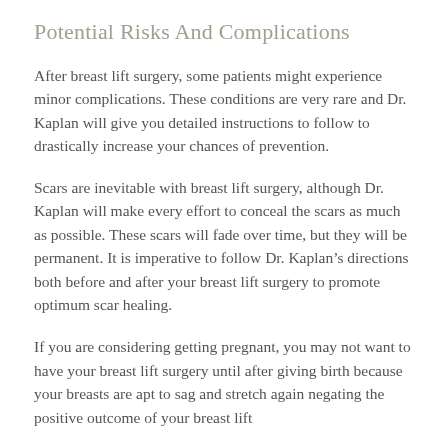Potential Risks And Complications
After breast lift surgery, some patients might experience minor complications. These conditions are very rare and Dr. Kaplan will give you detailed instructions to follow to drastically increase your chances of prevention.
Scars are inevitable with breast lift surgery, although Dr. Kaplan will make every effort to conceal the scars as much as possible. These scars will fade over time, but they will be permanent. It is imperative to follow Dr. Kaplan’s directions both before and after your breast lift surgery to promote optimum scar healing.
If you are considering getting pregnant, you may not want to have your breast lift surgery until after giving birth because your breasts are apt to sag and stretch again negating the positive outcome of your breast lift